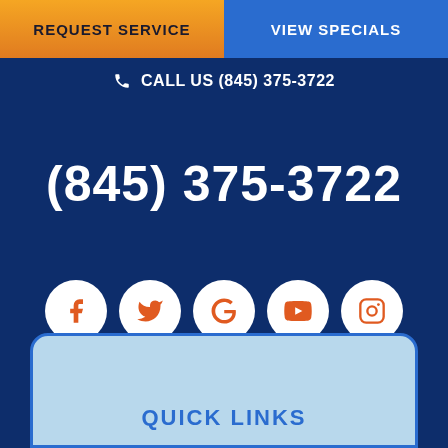REQUEST SERVICE
VIEW SPECIALS
CALL US (845) 375-3722
(845) 375-3722
[Figure (infographic): Row of five social media icons (Facebook, Twitter, Google, YouTube, Instagram) as white circles with orange icons]
QUICK LINKS